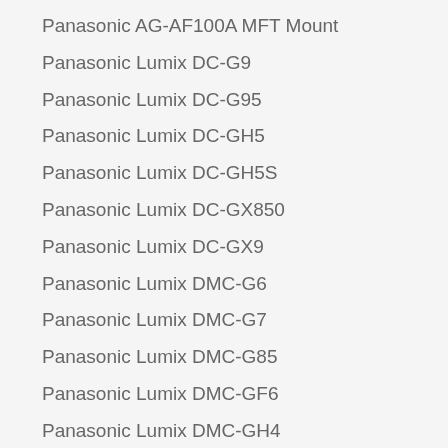Panasonic AG-AF100A MFT Mount
Panasonic Lumix DC-G9
Panasonic Lumix DC-G95
Panasonic Lumix DC-GH5
Panasonic Lumix DC-GH5S
Panasonic Lumix DC-GX850
Panasonic Lumix DC-GX9
Panasonic Lumix DMC-G6
Panasonic Lumix DMC-G7
Panasonic Lumix DMC-G85
Panasonic Lumix DMC-GF6
Panasonic Lumix DMC-GH4
Panasonic Lumix DMC-GX8
Panasonic Lumix DMC-GX85
YI Technology M1
Z CAM E1
Z CAM E2 MFT Mount